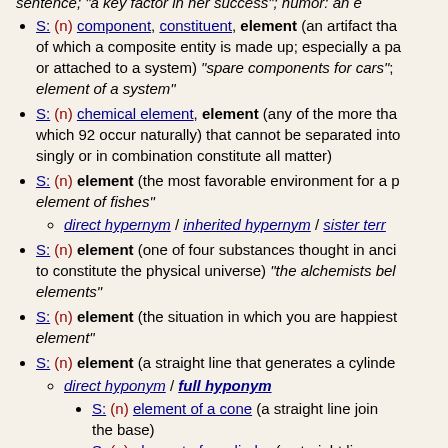S: (n) component, constituent, element (an artifact that is one of the individual parts of which a composite entity is made up; especially a part that can be separated from or attached to a system) "spare components for cars"; "a component or constituent element of a system"
S: (n) chemical element, element (any of the more than 100 known substances (of which 92 occur naturally) that cannot be separated into simpler substances and singly or in combination constitute all matter)
S: (n) element (the most favorable environment for a plant or animal) "water is the element of fishes"
direct hypernym / inherited hypernym / sister term
S: (n) element (one of four substances thought in ancient and medieval cosmology to constitute the physical universe) "the alchemists believed that gold was composed of elements"
S: (n) element (the situation in which you are happiest and most effective) "in your element"
S: (n) element (a straight line that generates a cylinder or cone)
direct hyponym / full hyponym
S: (n) element of a cone (a straight line joining the apex to the base)
S: (n) element of a cylinder (a straight line running the length of the cylinder)
direct hypernym / inherited hypernym / sister term